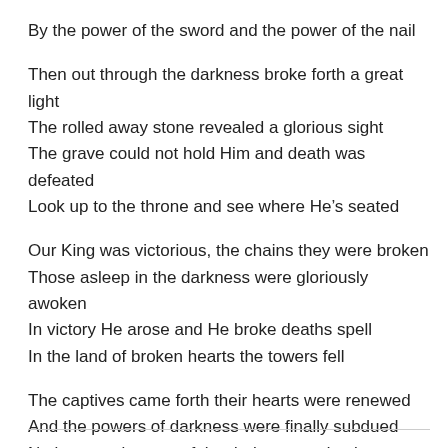By the power of the sword and the power of the nail
Then out through the darkness broke forth a great light
The rolled away stone revealed a glorious sight
The grave could not hold Him and death was defeated
Look up to the throne and see where He’s seated
Our King was victorious, the chains they were broken
Those asleep in the darkness were gloriously awoken
In victory He arose and He broke deaths spell
In the land of broken hearts the towers fell
The captives came forth their hearts were renewed
And the powers of darkness were finally subdued
No longer prisoners of the darkness and pain
Their tears were recovered and they fell like rain